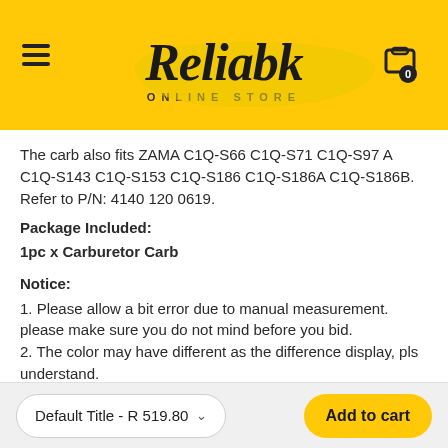[Figure (logo): Reliabk Online Store logo on yellow background with hamburger menu and shopping cart icon]
The carb also fits ZAMA C1Q-S66 C1Q-S71 C1Q-S97 A C1Q-S143 C1Q-S153 C1Q-S186 C1Q-S186A C1Q-S186B. Refer to P/N: 4140 120 0619.
Package Included:
1pc x Carburetor Carb
Notice:
1. Please allow a bit error due to manual measurement. please make sure you do not mind before you bid.
2. The color may have different as the difference display, pls understand.
Default Title - R 519.80
Add to cart